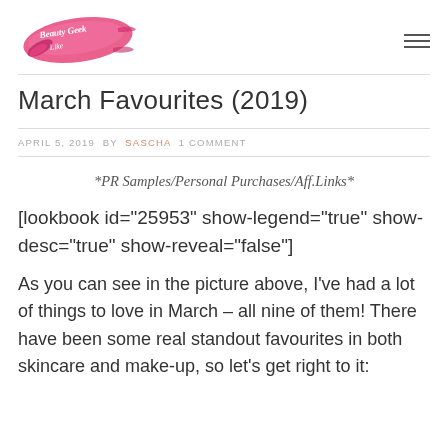[Figure (logo): Beauty Geek Like Me blog logo with pink brushstroke and cursive text]
March Favourites (2019)
APRIL 5, 2019 BY SASCHA 1 COMMENT
*PR Samples/Personal Purchases/Aff.Links*
[lookbook id="25953" show-legend="true" show-desc="true" show-reveal="false"]
As you can see in the picture above, I've had a lot of things to love in March – all nine of them! There have been some real standout favourites in both skincare and make-up, so let's get right to it: